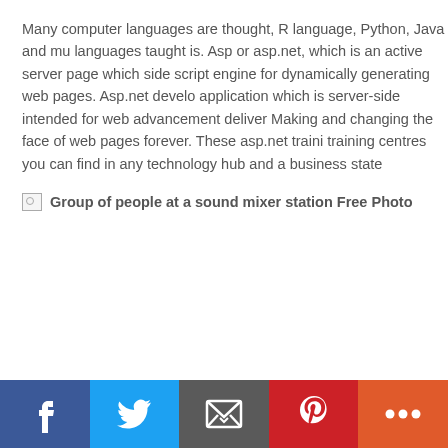Many computer languages are thought, R language, Python, Java and mu languages taught is. Asp or asp.net, which is an active server page which side script engine for dynamically generating web pages. Asp.net develo application which is server-side intended for web advancement deliver Making and changing the face of web pages forever. These asp.net traini training centres you can find in any technology hub and a business state
[Figure (photo): Broken image placeholder with alt text: Group of people at a sound mixer station Free Photo]